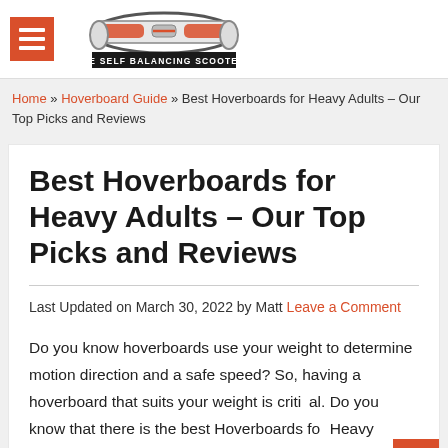THE SELF BALANCING SCOOTERS
Home » Hoverboard Guide » Best Hoverboards for Heavy Adults – Our Top Picks and Reviews
Best Hoverboards for Heavy Adults – Our Top Picks and Reviews
Last Updated on March 30, 2022 by Matt Leave a Comment
Do you know hoverboards use your weight to determine motion direction and a safe speed? So, having a hoverboard that suits your weight is critical. Do you know that there is the best Hoverboards for Heavy Adults available in the market?